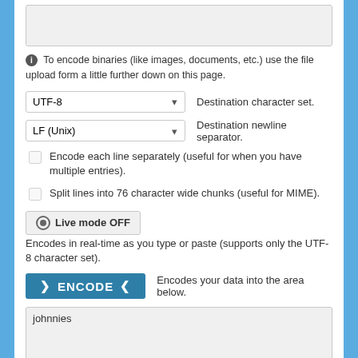[Figure (screenshot): Top textarea input field (empty, light gray background)]
ⓘ To encode binaries (like images, documents, etc.) use the file upload form a little further down on this page.
UTF-8   Destination character set.
LF (Unix)   Destination newline separator.
Encode each line separately (useful for when you have multiple entries).
Split lines into 76 character wide chunks (useful for MIME).
⏻ Live mode OFF   Encodes in real-time as you type or paste (supports only the UTF-8 character set).
> ENCODE <   Encodes your data into the area below.
[Figure (screenshot): Bottom textarea output field containing the text 'johnnies']